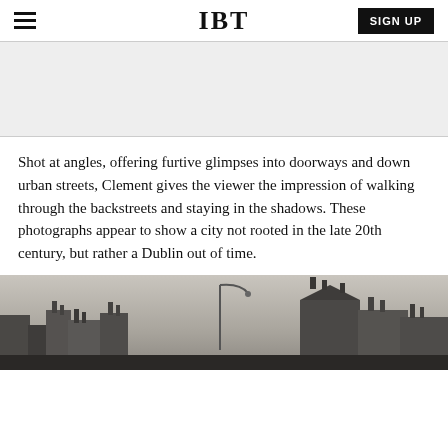IBT
Shot at angles, offering furtive glimpses into doorways and down urban streets, Clement gives the viewer the impression of walking through the backstreets and staying in the shadows. These photographs appear to show a city not rooted in the late 20th century, but rather a Dublin out of time.
[Figure (photo): Black and white photograph of Dublin urban skyline showing rooftops, chimneys, and a street lamp against an overcast sky.]